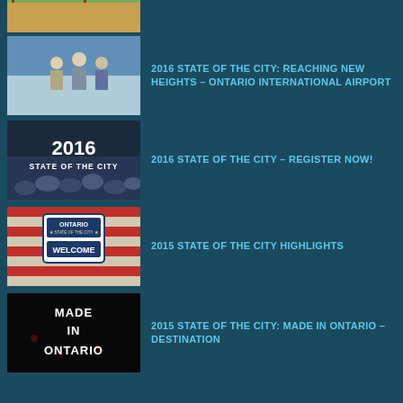[Figure (photo): Partial thumbnail of Safari Business Center sign with palm trees]
[Figure (photo): Thumbnail showing illustrated people figures with blue background for 2016 State of the City airport video]
2016 STATE OF THE CITY: REACHING NEW HEIGHTS - ONTARIO INTERNATIONAL AIRPORT
[Figure (photo): 2016 State of the City event thumbnail showing crowd with text overlay 2016 STATE OF THE CITY]
2016 STATE OF THE CITY - REGISTER NOW!
[Figure (photo): 2015 State of the City Welcome thumbnail with Ontario shield logo and American flag stripes]
2015 STATE OF THE CITY HIGHLIGHTS
[Figure (photo): Made in Ontario black thumbnail with white text reading MADE IN ONTARIO]
2015 STATE OF THE CITY: MADE IN ONTARIO - DESTINATION